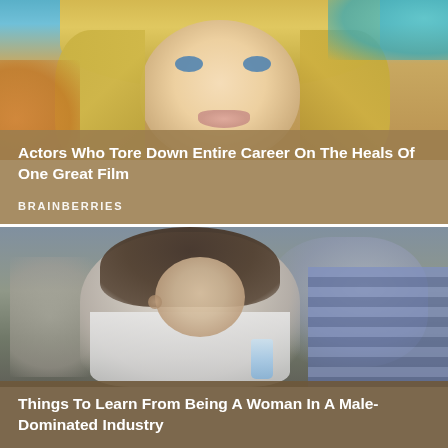[Figure (photo): Close-up photo of a young blonde woman with blue eyes against an orange and teal blurred background]
Actors Who Tore Down Entire Career On The Heals Of One Great Film
BRAINBERRIES
[Figure (photo): Photo of a brunette woman leaning forward at what appears to be a poker table, wearing a white shirt, with a man in a plaid shirt visible to her right]
Things To Learn From Being A Woman In A Male-Dominated Industry